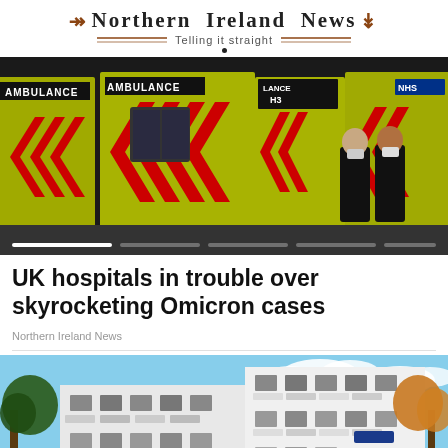Northern Ireland News — Telling it straight
[Figure (photo): Row of yellow and green NHS ambulances with red chevrons parked side by side; two masked paramedics in black uniforms stand in the background on the right. A progress indicator bar is visible at the bottom of the image.]
UK hospitals in trouble over skyrocketing Omicron cases
Northern Ireland News
[Figure (photo): Modern white residential apartment building with balconies, surrounded by trees with autumn foliage, blue sky with white clouds in the background.]